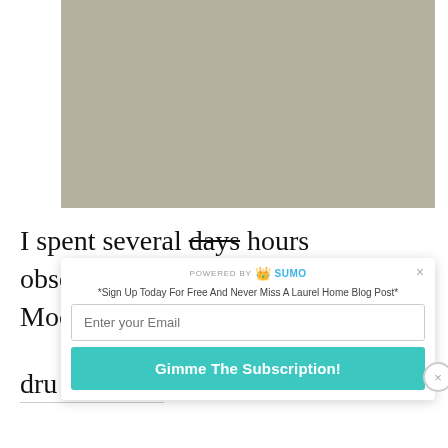[Figure (photo): Paint swatch showing a muted gray-beige/greige color (Benjamin Moore paint chip)]
I spent several days hours obsessing over which Benjamin Moore color comes the clo...
dru
[Figure (screenshot): Sumo email subscription popup overlay with 'POWERED BY SUMO' header, close X button, '*Sign Up Today For Free And Never Miss A Laurel Home Blog Post*' label, email input field, and 'Gimme The Subscription!' teal button, plus a close circle button on the right]